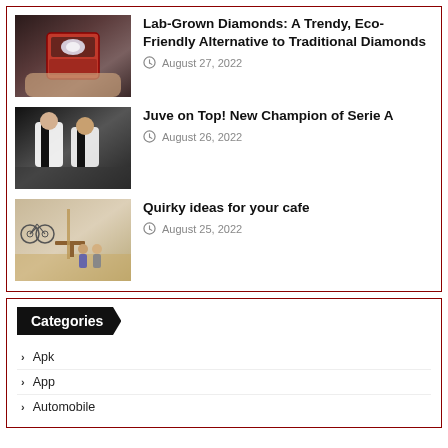Lab-Grown Diamonds: A Trendy, Eco-Friendly Alternative to Traditional Diamonds
August 27, 2022
[Figure (photo): Hand holding a ring box with a diamond ring]
Juve on Top! New Champion of Serie A
August 26, 2022
[Figure (photo): Soccer players in Juventus jerseys celebrating]
Quirky ideas for your cafe
August 25, 2022
[Figure (photo): Modern cafe interior with bicycles and people sitting]
Categories
Apk
App
Automobile